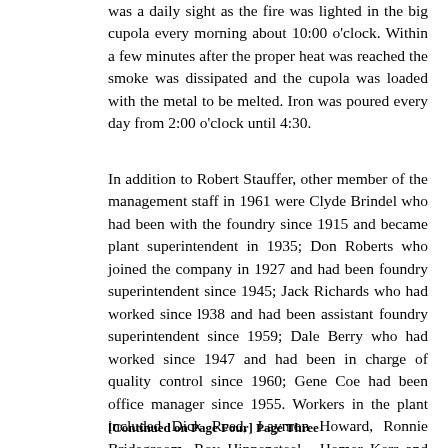was a daily sight as the fire was lighted in the big cupola every morning about 10:00 o'clock. Within a few minutes after the proper heat was reached the smoke was dissipated and the cupola was loaded with the metal to be melted. Iron was poured every day from 2:00 o'clock until 4:30.
In addition to Robert Stauffer, other member of the management staff in 1961 were Clyde Brindel who had been with the foundry since 1915 and became plant superintendent in 1935; Don Roberts who joined the company in 1927 and had been foundry superintendent since 1945; Jack Richards who had worked since l938 and had been assistant foundry superintendent since 1959; Dale Berry who had worked since 1947 and had been in charge of quality control since 1960; Gene Coe had been office manager since 1955. Workers in the plant included Dick Reed, Laymon Howard, Ronnie Bridegroom, Roy Hippensteel , Homer Kerr and Charlie Conrad. There were as many as 85 on the payroll in about 1960.
[Continued on Page Four] Page Three